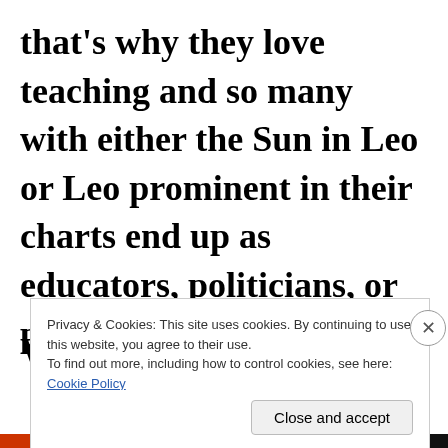that's why they love teaching and so many with either the Sun in Leo or Leo prominent in their charts end up as educators, politicians, or psychiatrists.
Wh...
Privacy & Cookies: This site uses cookies. By continuing to use this website, you agree to their use.
To find out more, including how to control cookies, see here: Cookie Policy
Close and accept